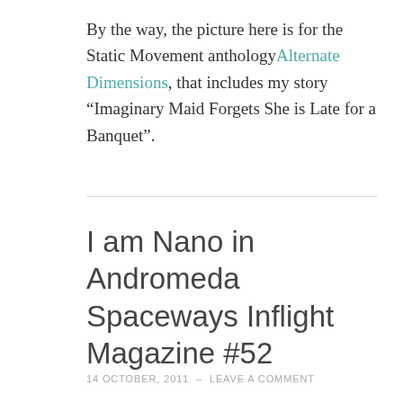By the way, the picture here is for the Static Movement anthology Alternate Dimensions, that includes my story “Imaginary Maid Forgets She is Late for a Banquet”.
I am Nano in Andromeda Spaceways Inflight Magazine #52
14 OCTOBER, 2011  -  LEAVE A COMMENT
My story “I am Nano” has just appeared in